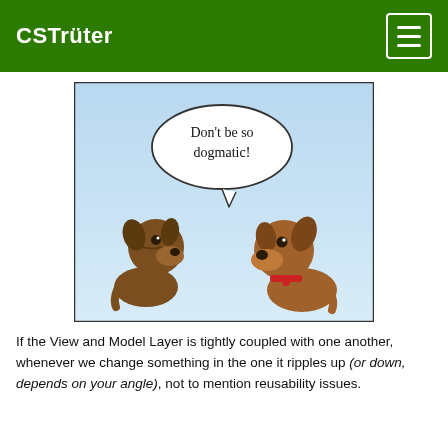CSTrüter
[Figure (illustration): A comic strip showing two cartoon dogs facing each other. The left dog is a scruffy brown dog and the right dog is a smooth brown dog with a red collar. A speech bubble says 'Don't be so dogmatic!']
If the View and Model Layer is tightly coupled with one another, whenever we change something in the one it ripples up (or down, depends on your angle), not to mention reusability issues.